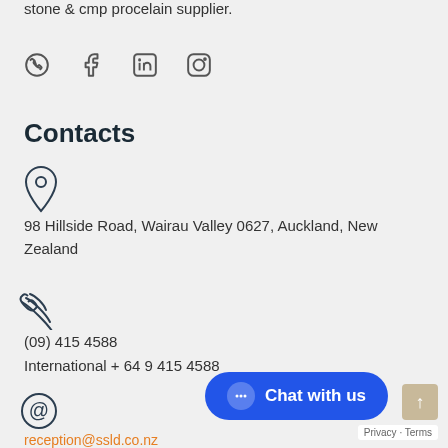stone & cmp procelain supplier.
[Figure (other): Social media icons: Viber, Facebook, LinkedIn, Instagram]
Contacts
[Figure (other): Location pin icon]
98 Hillside Road, Wairau Valley 0627, Auckland, New Zealand
[Figure (other): Phone/call icon]
(09) 415 4588
International + 64 9 415 4588
[Figure (other): At-sign / email icon]
reception@ssld.co.nz
[Figure (other): Chat with us button and scroll-up arrow]